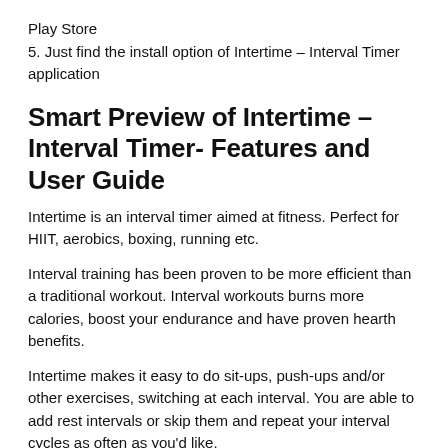Play Store
5. Just find the install option of Intertime – Interval Timer application
Smart Preview of Intertime – Interval Timer- Features and User Guide
Intertime is an interval timer aimed at fitness. Perfect for HIIT, aerobics, boxing, running etc.
Interval training has been proven to be more efficient than a traditional workout. Interval workouts burns more calories, boost your endurance and have proven hearth benefits.
Intertime makes it easy to do sit-ups, push-ups and/or other exercises, switching at each interval. You are able to add rest intervals or skip them and repeat your interval cycles as often as you'd like.